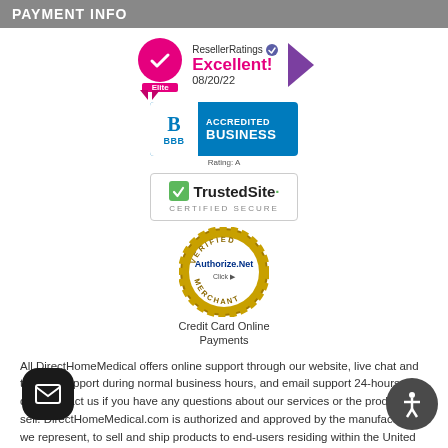PAYMENT INFO
[Figure (logo): ResellerRatings Elite badge showing Excellent! rating dated 08/20/22]
[Figure (logo): BBB Accredited Business badge]
[Figure (logo): TrustedSite Certified Secure badge]
[Figure (logo): Authorize.Net Verified Merchant Click badge for Credit Card Online Payments]
Credit Card Online Payments
All DirectHomeMedical offers online support through our website, live chat and toll free support during normal business hours, and email support 24-hours a day. Contact us if you have any questions about our services or the products we sell. DirectHomeMedical.com is authorized and approved by the manufacturers we represent, to sell and ship products to end-users residing within the United States, not to other third parties or businesses. A prescription is